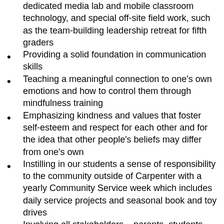dedicated media lab and mobile classroom technology, and special off-site field work, such as the team-building leadership retreat for fifth graders
Providing a solid foundation in communication skills
Teaching a meaningful connection to one’s own emotions and how to control them through mindfulness training
Emphasizing kindness and values that foster self-esteem and respect for each other and for the idea that other people’s beliefs may differ from one’s own
Instilling in our students a sense of responsibility to the community outside of Carpenter with a yearly Community Service week which includes daily service projects and seasonal book and toy drives
Involving all stakeholders – parents, students,